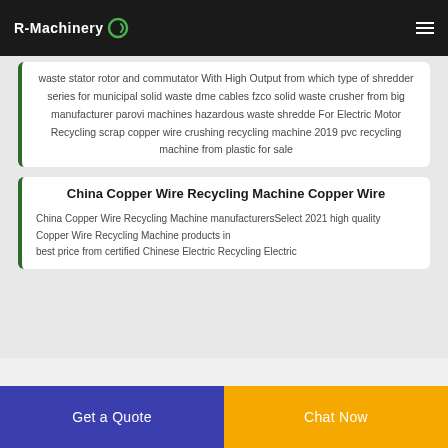R-Machinery
waste stator rotor and commutator With High Output from which type of shredder series for municipal solid waste dme cables fzco solid waste crusher from big manufacturer parovi machines hazardous waste shredde For Electric Motor Recycling scrap copper wire crushing recycling machine 2019 pvc recycling machine from plastic for sale
China Copper Wire Recycling Machine Copper Wire
China Copper Wire Recycling Machine manufacturersSelect 2021 high quality Copper Wire Recycling Machine products in best price from certified Chinese Electric Recycling Electric